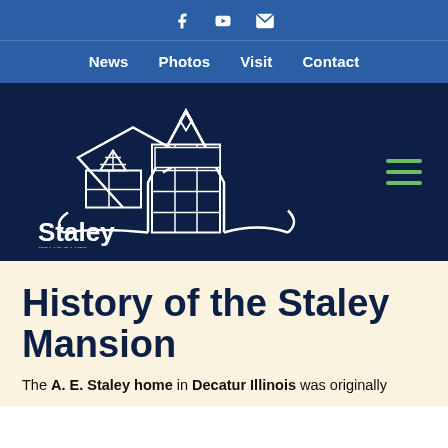Social icons: Facebook, YouTube, Email
News  Photos  Visit  Contact
[Figure (logo): Staley Museum logo — white line-art house/mansard roof illustration with 'Staley museum' text on dark navy background]
History of the Staley Mansion
The A. E. Staley home in Decatur Illinois was originally